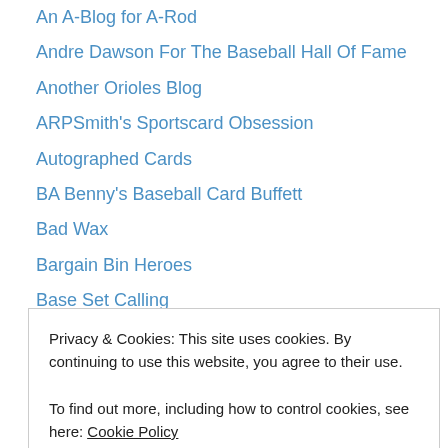An A-Blog for A-Rod
Andre Dawson For The Baseball Hall Of Fame
Another Orioles Blog
ARPSmith's Sportscard Obsession
Autographed Cards
BA Benny's Baseball Card Buffett
Bad Wax
Bargain Bin Heroes
Base Set Calling
Baseball Cards And Life
Baseball Cards of the Golden Age
Baseball Cards Rule
Baseball Geeks
Privacy & Cookies: This site uses cookies. By continuing to use this website, you agree to their use.
To find out more, including how to control cookies, see here: Cookie Policy
Blue Batting Helmet